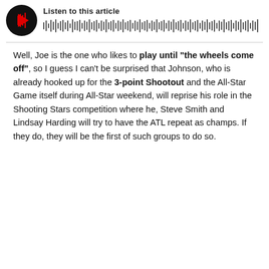[Figure (other): Audio player widget with circular play button and waveform visualization, labeled 'Listen to this article']
Well, Joe is the one who likes to play until "the wheels come off", so I guess I can't be surprised that Johnson, who is already hooked up for the 3-point Shootout and the All-Star Game itself during All-Star weekend, will reprise his role in the Shooting Stars competition where he, Steve Smith and Lindsay Harding will try to have the ATL repeat as champs. If they do, they will be the first of such groups to do so.